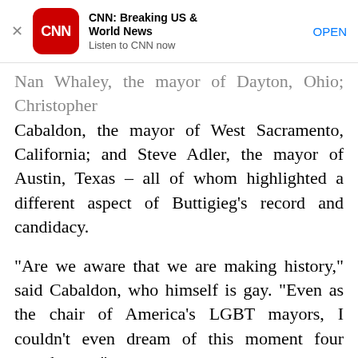[Figure (screenshot): CNN app advertisement banner with CNN logo, title 'CNN: Breaking US & World News', subtitle 'Listen to CNN now', and OPEN button]
Nan Whaley, the mayor of Dayton, Ohio; Christopher Cabaldon, the mayor of West Sacramento, California; and Steve Adler, the mayor of Austin, Texas – all of whom highlighted a different aspect of Buttigieg's record and candidacy.
“Are we aware that we are making history,” said Cabaldon, who himself is gay. “Even as the chair of America’s LGBT mayors, I couldn’t even dream of this moment four months ago.”
Adler’s endorsement was significant because two other Texans – former Rep. Beto O’Rourke and former Housing and Urban Development Secretary Julián Castro – are already running for president. Adler...